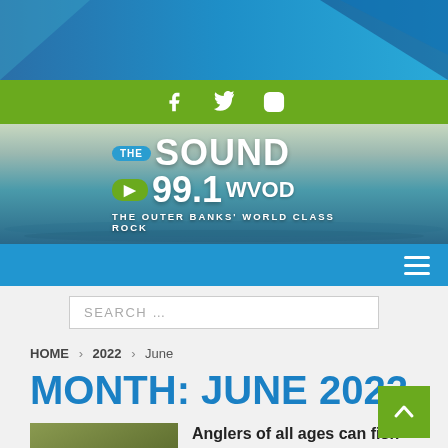[Figure (screenshot): Top geometric banner with blue gradient and triangular shapes]
f (Facebook) Twitter Instagram social icons on green bar
[Figure (logo): THE SOUND 99.1 WVOD - THE OUTER BANKS' WORLD CLASS ROCK logo on ocean background]
Navigation bar with hamburger menu
SEARCH ...
HOME > 2022 > June
MONTH: JUNE 2022
Anglers of all ages can fish for free in North Carolina on July 4